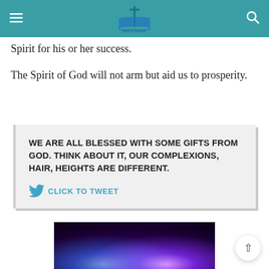Bible Arena — navigation header with logo
Spirit for his or her success.
The Spirit of God will not arm but aid us to prosperity.
WE ARE ALL BLESSED WITH SOME GIFTS FROM GOD. THINK ABOUT IT, OUR COMPLEXIONS, HAIR, HEIGHTS ARE DIFFERENT.
CLICK TO TWEET
[Figure (photo): Dark abstract light beams image with blue and purple radiant light on black background]